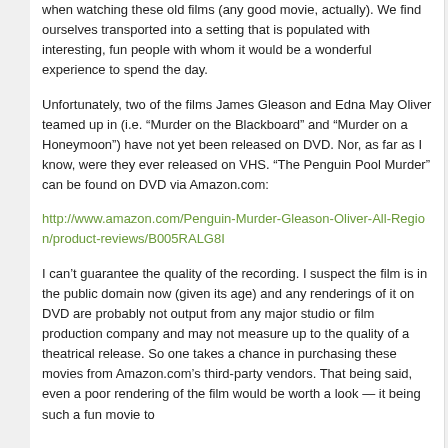when watching these old films (any good movie, actually). We find ourselves transported into a setting that is populated with interesting, fun people with whom it would be a wonderful experience to spend the day.
Unfortunately, two of the films James Gleason and Edna May Oliver teamed up in (i.e. “Murder on the Blackboard” and “Murder on a Honeymoon”) have not yet been released on DVD. Nor, as far as I know, were they ever released on VHS. “The Penguin Pool Murder” can be found on DVD via Amazon.com:
http://www.amazon.com/Penguin-Murder-Gleason-Oliver-All-Region/product-reviews/B005RALG8I
I can’t guarantee the quality of the recording. I suspect the film is in the public domain now (given its age) and any renderings of it on DVD are probably not output from any major studio or film production company and may not measure up to the quality of a theatrical release. So one takes a chance in purchasing these movies from Amazon.com’s third-party vendors. That being said, even a poor rendering of the film would be worth a look — it being such a fun movie to
Marie Dressler & Po...
Marjorie Main & Wa...
Maureen O’Hara & ... Quinn
Maureen O’Hara & ... Laughton
Maureen O’Hara & ... Stewart
Myrna Loy & Clark ...
Myrna Loy & Willia...
Naunton Wayne & B... Radford
Peter Lorre & Sydne... Greenstreet
Rosalind Russell & ... Montgomery
Sharon McManus & “Butch” Jenkins
Shirley Temple & Bi... “Bojangles” Robinso...
Shirley Temple & Ch... Gillingwater
Shirley Temple & Jo...
Victor McLaglen & B... Lowe